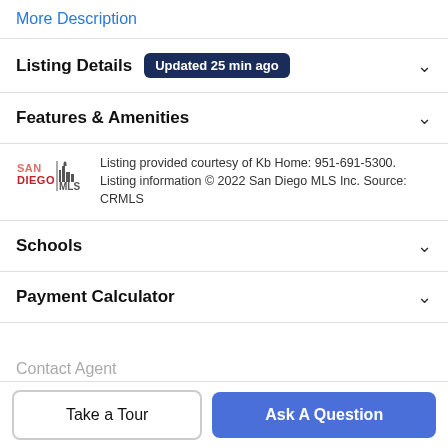More Description
Listing Details Updated 25 min ago
Features & Amenities
Listing provided courtesy of Kb Home: 951-691-5300. Listing information © 2022 San Diego MLS Inc. Source: CRMLS
Schools
Payment Calculator
Contact Agent
Take a Tour
Ask A Question